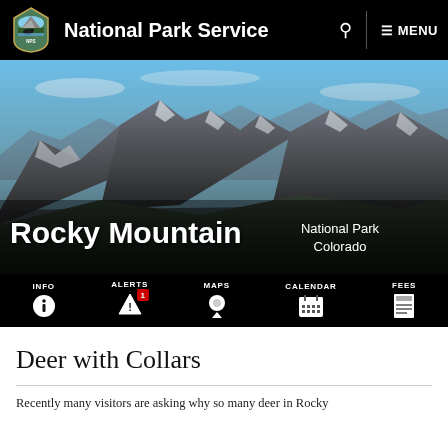National Park Service
[Figure (photo): Mountain landscape with snow-capped rocky peaks under a blue sky — Rocky Mountain National Park, Colorado]
Rocky Mountain
National Park
Colorado
INFO | ALERTS 1 | MAPS | CALENDAR | FEES
Deer with Collars
Recently many visitors are asking why so many deer in Rocky